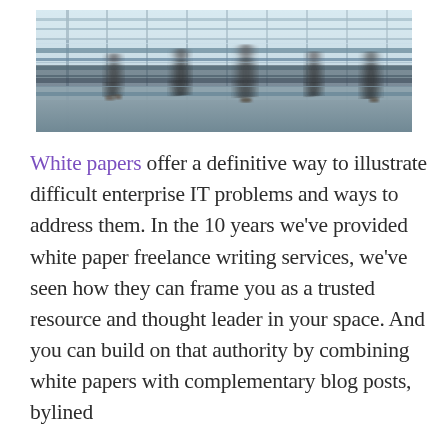[Figure (photo): Motion-blurred photograph of people walking through a modern glass and steel building interior, viewed through horizontal structural elements, creating a busy urban corporate atmosphere.]
White papers offer a definitive way to illustrate difficult enterprise IT problems and ways to address them. In the 10 years we've provided white paper freelance writing services, we've seen how they can frame you as a trusted resource and thought leader in your space. And you can build on that authority by combining white papers with complementary blog posts, bylined